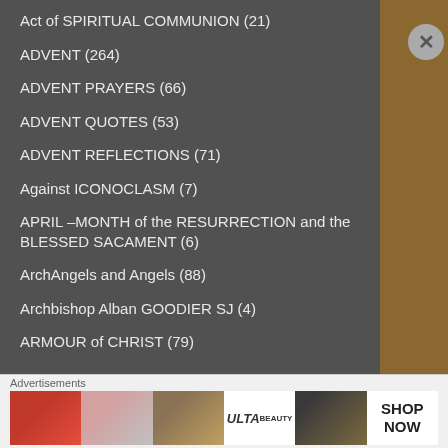Act of SPIRITUAL COMMUNION (21)
ADVENT (264)
ADVENT PRAYERS (66)
ADVENT QUOTES (53)
ADVENT REFLECTIONS (71)
Against ICONOCLASM (7)
APRIL –MONTH of the RESURRECTION and the BLESSED SACAMENT (6)
ArchAngels and Angels (88)
Archbishop Alban GOODIER SJ (4)
ARMOUR of CHRIST (79)
Advertisements